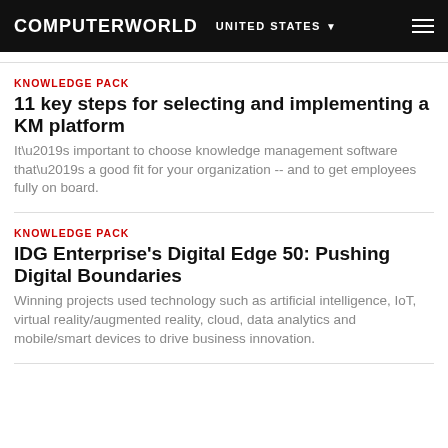COMPUTERWORLD  UNITED STATES
KNOWLEDGE PACK
11 key steps for selecting and implementing a KM platform
It’s important to choose knowledge management software that’s a good fit for your organization -- and to get employees fully on board.
KNOWLEDGE PACK
IDG Enterprise's Digital Edge 50: Pushing Digital Boundaries
Winning projects used technology such as artificial intelligence, IoT, virtual reality/augmented reality, cloud, data analytics and mobile/smart devices to drive business innovation.